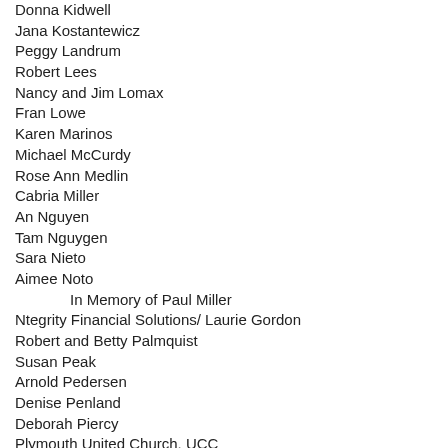Donna Kidwell
Jana Kostantewicz
Peggy Landrum
Robert Lees
Nancy and Jim Lomax
Fran Lowe
Karen Marinos
Michael McCurdy
Rose Ann Medlin
Cabria Miller
An Nguyen
Tam Nguygen
Sara Nieto
Aimee Noto
In Memory of Paul Miller
Ntegrity Financial Solutions/ Laurie Gordon
Robert and Betty Palmquist
Susan Peak
Arnold Pedersen
Denise Penland
Deborah Piercy
Plymouth United Church, UCC
Ashley and Brooks Ranton